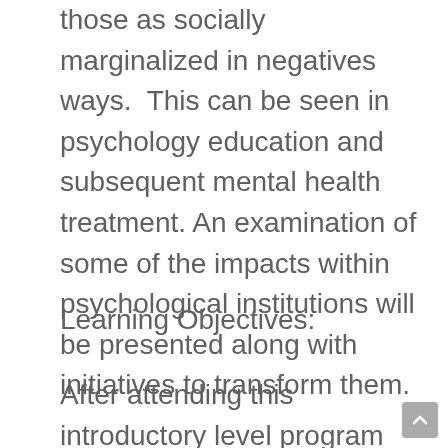those as socially marginalized in negatives ways.  This can be seen in psychology education and subsequent mental health treatment. An examination of some of the impacts within psychological institutions will be presented along with initiatives to transform them.
Learning Objectives:
After attending this introductory level program participants will be able to: